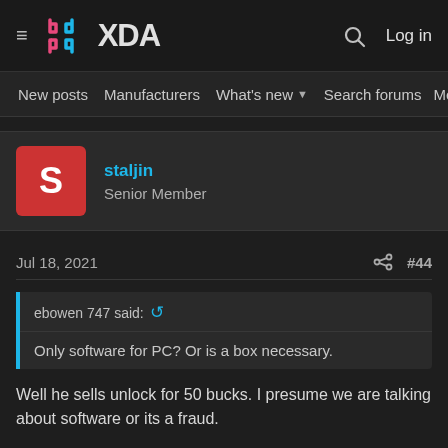XDA — Log in
New posts  Manufacturers  What's new  Search forums  Membe  >
staljin
Senior Member
Jul 18, 2021  #44
ebowen 747 said: ↺
Only software for PC? Or is a box necessary.
Well he sells unlock for 50 bucks. I presume we are talking about software or its a fraud.